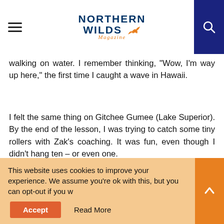Northern Wilds Magazine
walking on water. I remember thinking, "Wow, I'm way up here," the first time I caught a wave in Hawaii.
I felt the same thing on Gitchee Gumee (Lake Superior). By the end of the lesson, I was trying to catch some tiny rollers with Zak's coaching. It was fun, even though I didn't hang ten – or even one.
[Figure (photo): People standing on paddleboards or wading on a lake (Lake Superior) with a forested shoreline and cloudy sky in the background.]
My family watched from the shore. I
This website uses cookies to improve your experience. We assume you're ok with this, but you can opt-out if you w